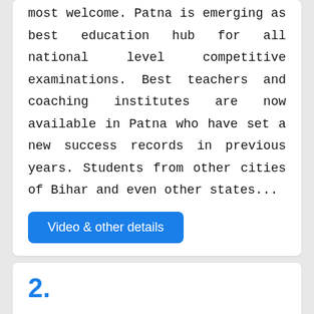most welcome. Patna is emerging as best education hub for all national level competitive examinations. Best teachers and coaching institutes are now available in Patna who have set a new success records in previous years. Students from other cities of Bihar and even other states...
Video & other details
2.
Shri Boys and Girls